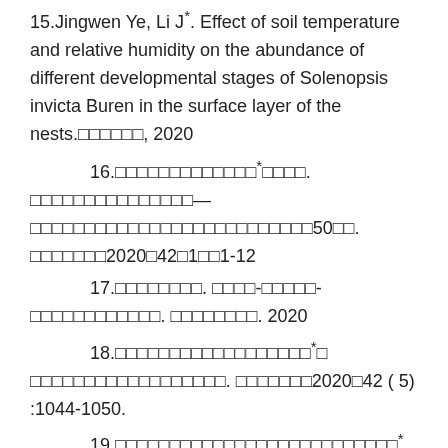15.Jingwen Ye, Li J*. Effect of soil temperature and relative humidity on the abundance of different developmental stages of Solenopsis invicta Buren in the surface layer of the nests.□□□□□□, 2020
16.□□□□□□□□□□□□□*□□□□. □□□□□□□□□□□□□□□—□□□□□□□□□□□□□□□□□□□□□□□□□□50□□. □□□□□□□2020□42□1□□1-12
17.□□□□□□□□. □□□□-□□□□□-□□□□□□□□□□□□. □□□□□□□□. 2020
18.□□□□□□□□□□□□□□□□□□*□ □□□□□□□□□□□□□□□□□□. □□□□□□□2020□42 ( 5) :1044-1050.
19.□□□□□□□□□□□□□□□□□□□□□□□□□□*. □□□□□□□□□□□□□□□□□□□□□. □□□□□□. 2019□41□4□□612-619
20.Jingwen Ye, Chai FH, Gu XH, Han SC, Lü X, Ji SG, Zhang LM, Li J*. Performance of parasitoid Aphidius gifuensis Ashmead